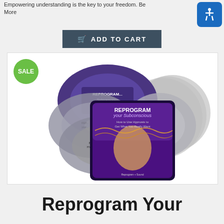Empowering understanding is the key to your freedom. Be More
ADD TO CART
[Figure (photo): Product image showing multiple CDs and a tablet displaying 'Reprogram Your Subconscious - How to Use Hypnosis to Get What You Really Want', with a SALE badge overlay]
Reprogram Your